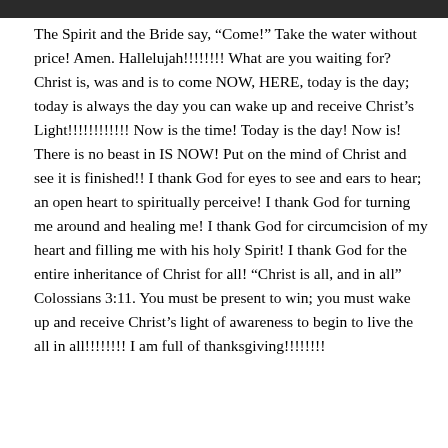[Figure (photo): Dark image bar at top of page]
The Spirit and the Bride say, “Come!” Take the water without price! Amen. Hallelujah!!!!!!!! What are you waiting for? Christ is, was and is to come NOW, HERE, today is the day; today is always the day you can wake up and receive Christ’s Light!!!!!!!!!!!! Now is the time! Today is the day! Now is! There is no beast in IS NOW! Put on the mind of Christ and see it is finished!! I thank God for eyes to see and ears to hear; an open heart to spiritually perceive! I thank God for turning me around and healing me! I thank God for circumcision of my heart and filling me with his holy Spirit! I thank God for the entire inheritance of Christ for all! “Christ is all, and in all” Colossians 3:11. You must be present to win; you must wake up and receive Christ’s light of awareness to begin to live the all in all!!!!!!!! I am full of thanksgiving!!!!!!!!